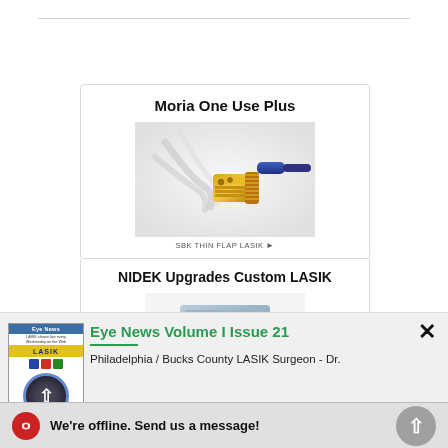[Figure (photo): Moria One Use Plus surgical device - SBK thin flap LASIK microkeratome with metal blade holder and clear tubing]
Moria One Use Plus
SBK THIN FLAP LASIK ▶
[Figure (photo): NIDEK Custom LASIK excimer laser system - large medical device unit]
NIDEK Upgrades Custom LASIK
[Figure (screenshot): Eye News magazine thumbnail cover showing LASIK news]
Eye News Volume I Issue 21
Philadelphia / Bucks County LASIK Surgeon - Dr.
We're offline. Send us a message!